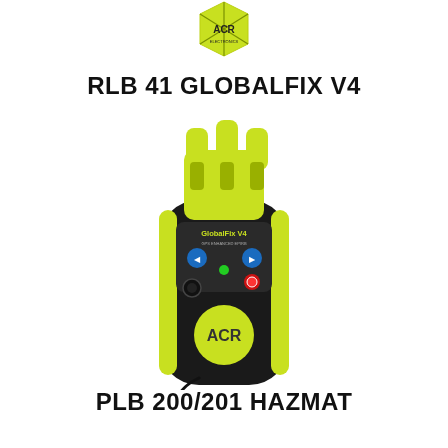[Figure (logo): ACR brand logo — yellow diamond/hexagon shape with ACR text in black]
RLB 41 GLOBALFIX V4
[Figure (photo): ACR RLB 41 GlobalFix V4 EPIRB device — a black safety beacon with yellow-green accents, a yellow activation handle on top, control panel with blue and red buttons, a round yellow ACR logo badge on the front, and a black lanyard attached to the bottom]
PLB 200/201 HAZMAT